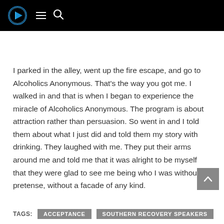Navigation header with logo, menu and search icons
I parked in the alley, went up the fire escape, and go to Alcoholics Anonymous. That's the way you got me. I walked in and that is when I began to experience the miracle of Alcoholics Anonymous. The program is about attraction rather than persuasion. So went in and I told them about what I just did and told them my story with drinking. They laughed with me. They put their arms around me and told me that it was alright to be myself that they were glad to see me being who I was without pretense, without a facade of any kind.
ACCEPTANCE
SOUTHERN RECOVERY SPEAKERS